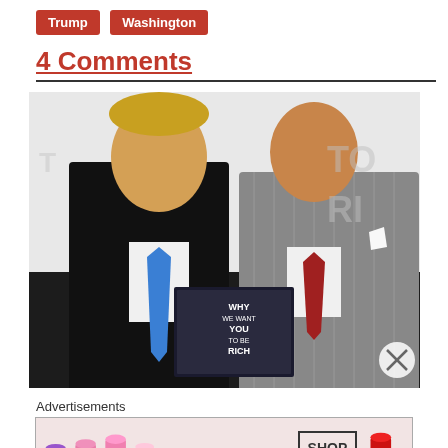Trump | Washington
4 Comments
[Figure (photo): Two men in suits holding a book titled 'Why We Want You To Be Rich'. The man on the left wears a black suit with a blue tie, and the man on the right wears a grey pinstripe suit with a red tie.]
Advertisements
[Figure (photo): MAC cosmetics advertisement banner showing lipsticks and MAC logo with 'SHOP NOW' button.]